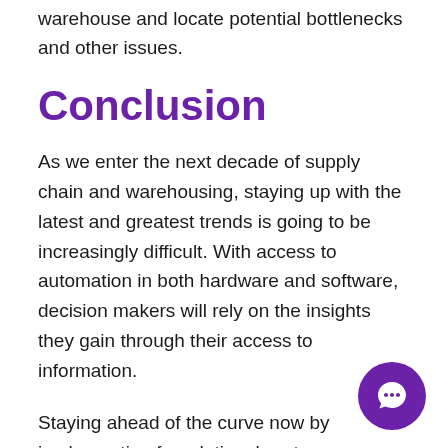warehouse and locate potential bottlenecks and other issues.
Conclusion
As we enter the next decade of supply chain and warehousing, staying up with the latest and greatest trends is going to be increasingly difficult. With access to automation in both hardware and software, decision makers will rely on the insights they gain through their access to information.
Staying ahead of the curve now by implementing foundational systems can allow your organization to prepare for what's next. Inventory management and asset traceability ensure you have all the necessary data at your